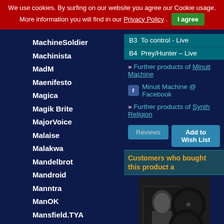We use cookies. By surfing on our website you agree our Cookie usage. More information you will find in our Privacy Policy . I agree
MachineSoldier
Machinista
MadM
Maenifesto
Magica
Magik Brite
MajorVoice
Malaise
Malakwa
Mandelbrot
Mandroid
Manntra
ManOK
Mansfield.TYA
Mantus
Manufactura
Manuskript
Maps
Marble Slave
Marc Heal
Marc, Felix
Marching Dynamics
B3 To control - Live
B4 Prey/Hunter – Live
» Further products of Minuit Machine
Minuit Machine @ Facebook
» Further products of Synth Religion
Reviews
Add to Wish List
Customers who bought this product a
Legend - Fearless [+bonus] / Black Edition ( Vinyl)